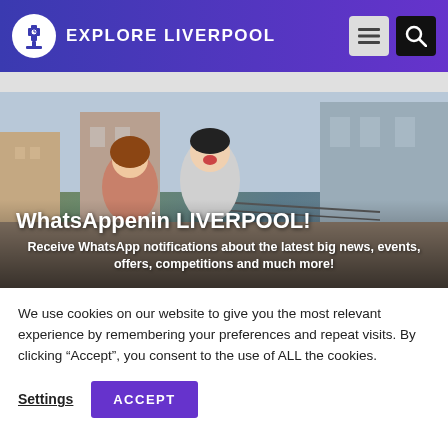EXPLORE LIVERPOOL
[Figure (photo): Hero image of people enjoying Liverpool city, with a man and woman smiling in front of Liverpool street scene. Text overlay reads 'WhatsAppenin LIVERPOOL!' and 'Receive WhatsApp notifications about the latest big news, events, offers, competitions and much more!']
WhatsAppenin LIVERPOOL!
Receive WhatsApp notifications about the latest big news, events, offers, competitions and much more!
We use cookies on our website to give you the most relevant experience by remembering your preferences and repeat visits. By clicking “Accept”, you consent to the use of ALL the cookies.
Settings   ACCEPT